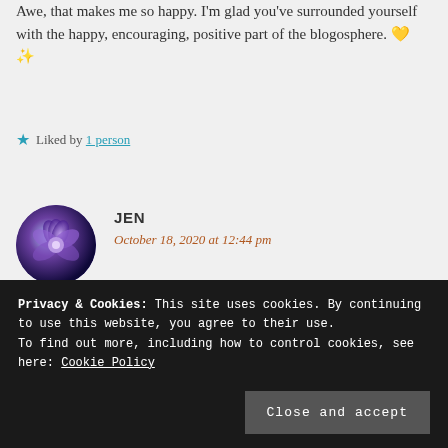Awe, that makes me so happy. I'm glad you've surrounded yourself with the happy, encouraging, positive part of the blogosphere. 💛 ✨
★ Liked by 1 person
JEN
October 18, 2020 at 12:44 pm
😍😍😍
Privacy & Cookies: This site uses cookies. By continuing to use this website, you agree to their use.
To find out more, including how to control cookies, see here: Cookie Policy
[Close and accept]